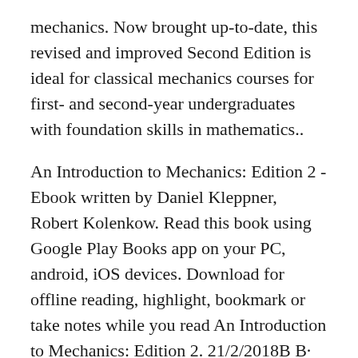mechanics. Now brought up-to-date, this revised and improved Second Edition is ideal for classical mechanics courses for first- and second-year undergraduates with foundation skills in mathematics..
An Introduction to Mechanics: Edition 2 - Ebook written by Daniel Kleppner, Robert Kolenkow. Read this book using Google Play Books app on your PC, android, iOS devices. Download for offline reading, highlight, bookmark or take notes while you read An Introduction to Mechanics: Edition 2. 21/2/2018B B· For 40 years, Kleppner and Kolenkow's classic text has introduced students to the principles of mechanics. Now brought up to date, this revised and improved Second Edition is ideal for classical